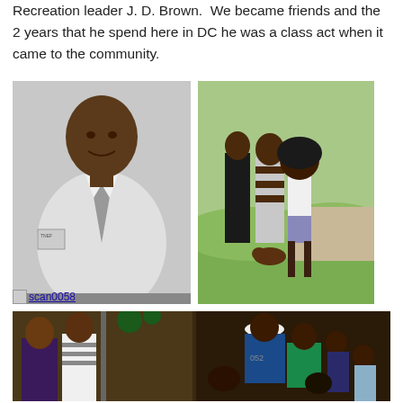Recreation leader J. D. Brown.  We became friends and the 2 years that he spend here in DC he was a class act when it came to the community.
[Figure (photo): Black and white portrait photo of a man in a suit and tie with a badge on jacket pocket]
[Figure (photo): Color photo of two people and a woman with an afro standing outdoors on grass with a dog crouching down]
[Figure (photo): Color photo of a group of people at what appears to be a holiday gathering, two men smiling on left, group of people on right side with one wearing a white cap and blue/green jacket]